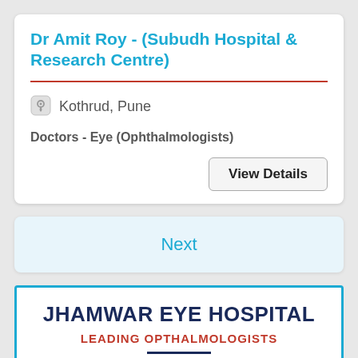Dr Amit Roy - (Subudh Hospital & Research Centre)
Kothrud, Pune
Doctors - Eye (Ophthalmologists)
View Details
Next
[Figure (infographic): Advertisement for Jhamwar Eye Hospital with text: JHAMWAR EYE HOSPITAL, LEADING OPTHALMOLOGISTS, with a horizontal black line below]
JHAMWAR EYE HOSPITAL
LEADING OPTHALMOLOGISTS